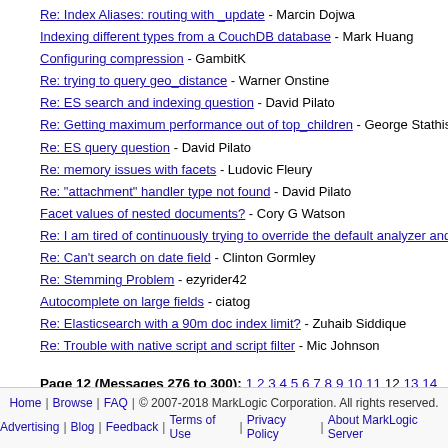Re: Index Aliases: routing with _update - Marcin Dojwa
Indexing different types from a CouchDB database - Mark Huang
Configuring compression - GambitK
Re: trying to query geo_distance - Warner Onstine
Re: ES search and indexing question - David Pilato
Re: Getting maximum performance out of top_children - George Stathis
Re: ES query question - David Pilato
Re: memory issues with facets - Ludovic Fleury
Re: "attachment" handler type not found - David Pilato
Facet values of nested documents? - Cory G Watson
Re: I am tired of continuously trying to override the default analyzer and
Re: Can't search on date field - Clinton Gormley
Re: Stemming Problem - ezyrider42
Autocomplete on large fields - ciatog
Re: Elasticsearch with a 90m doc index limit? - Zuhaib Siddique
Re: Trouble with native script and script filter - Mic Johnson
Page 12 (Messages 276 to 300): 1 2 3 4 5 6 7 8 9 10 11 12 13 14 15 1 38 39 40 41 42 43 44 45 46
Home | Browse | FAQ | © 2007-2018 MarkLogic Corporation. All rights reserved. Advertising | Blog | Feedback | Terms of Use | Privacy Policy | About MarkLogic Server